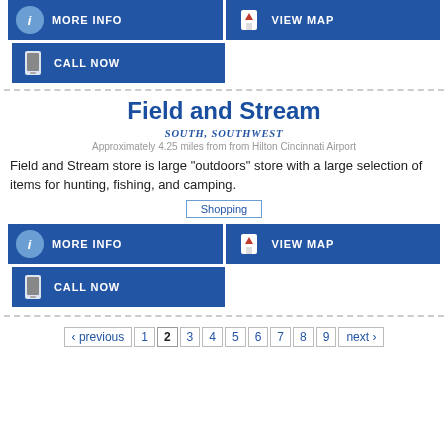[Figure (infographic): Top navigation buttons: MORE INFO (blue, info icon) and VIEW MAP (blue, map icon) side by side, then CALL NOW (blue, phone icon) below on left half]
Field and Stream
SOUTH, SOUTHWEST
Approximately 4.25 miles from from Hilton Cincinnati Airport
Field and Stream store is large "outdoors" store with a large selection of items for hunting, fishing, and camping.
Shopping
[Figure (infographic): Bottom navigation buttons: MORE INFO (blue, info icon) and VIEW MAP (blue, map icon) side by side, then CALL NOW (blue, phone icon) below on left half]
‹ previous  1  2  3  4  5  6  7  8  9  next ›